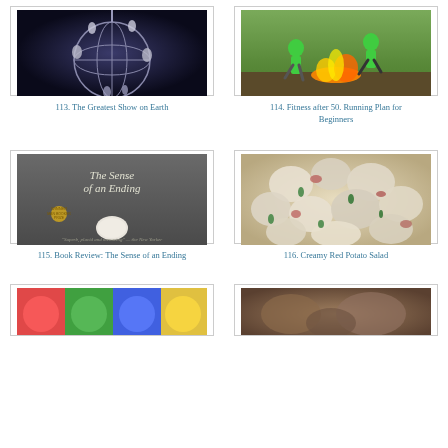[Figure (photo): Circus acrobats performing on a spherical metal apparatus against dark background]
113. The Greatest Show on Earth
[Figure (photo): Two people in green shirts running through fire obstacle course]
114. Fitness after 50. Running Plan for Beginners
[Figure (photo): Book cover: The Sense of an Ending, winner of the Man Booker Prize]
115. Book Review: The Sense of an Ending
[Figure (photo): Close-up of creamy red potato salad with green onions]
116. Creamy Red Potato Salad
[Figure (photo): Colorful image, partially visible at bottom left]
[Figure (photo): Partially visible image at bottom right]